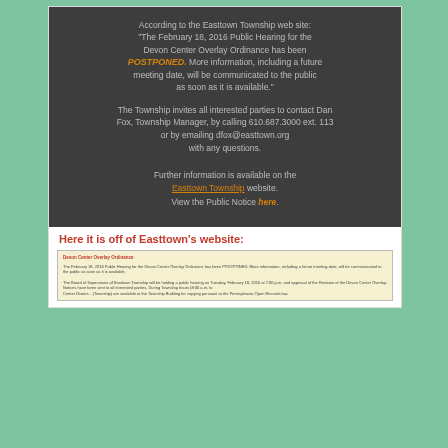According to the Easttown Township web site: "The February 18, 2016 Public Hearing for the Devon Center Overlay Ordinance has been POSTPONED. More information, including a future meeting date, will be communicated to the public as soon as it is available."
The Township invites all interested parties to contact Dan Fox, Township Manager, by calling 610.687.3000 ext. 113 or by emailing dfox@easttown.org with any questions.
Further information is available on the Easttown Township website. View the Public Notice here.
Here it is off of Easttown's website:
[Figure (screenshot): Screenshot of Easttown Township website showing the postponement notice for the February 18, 2016 Public Hearing for the Devon Center Overlay Ordinance.]